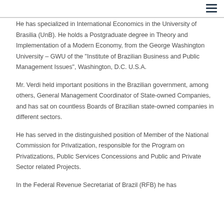He has specialized in International Economics in the University of Brasilia (UnB). He holds a Postgraduate degree in Theory and Implementation of a Modern Economy, from the George Washington University – GWU of the “Institute of Brazilian Business and Public Management Issues”, Washington, D.C. U.S.A.
Mr. Verdi held important positions in the Brazilian government, among others, General Management Coordinator of State-owned Companies, and has sat on countless Boards of Brazilian state-owned companies in different sectors.
He has served in the distinguished position of Member of the National Commission for Privatization, responsible for the Program on Privatizations, Public Services Concessions and Public and Private Sector related Projects.
In the Federal Revenue Secretariat of Brazil (RFB) he has